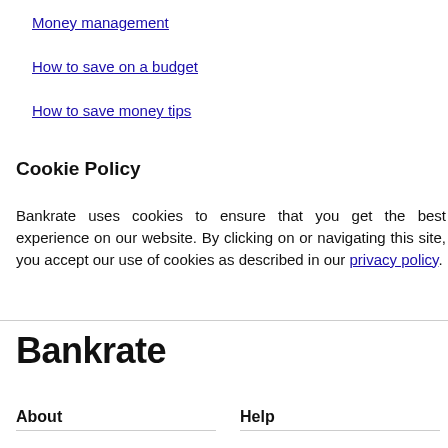Money management
How to save on a budget
How to save money tips
Cookie Policy
Bankrate uses cookies to ensure that you get the best experience on our website. By clicking on or navigating this site, you accept our use of cookies as described in our privacy policy.
Bankrate
About
Help